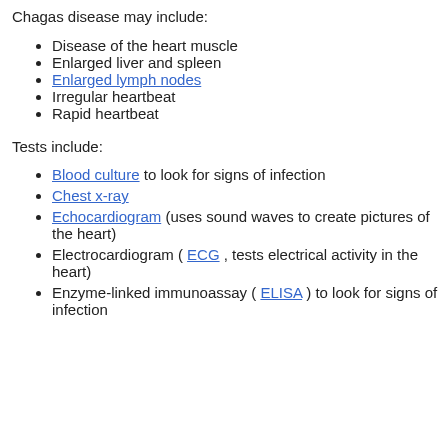Chagas disease may include:
Disease of the heart muscle
Enlarged liver and spleen
Enlarged lymph nodes
Irregular heartbeat
Rapid heartbeat
Tests include:
Blood culture to look for signs of infection
Chest x-ray
Echocardiogram (uses sound waves to create pictures of the heart)
Electrocardiogram ( ECG , tests electrical activity in the heart)
Enzyme-linked immunoassay ( ELISA ) to look for signs of infection